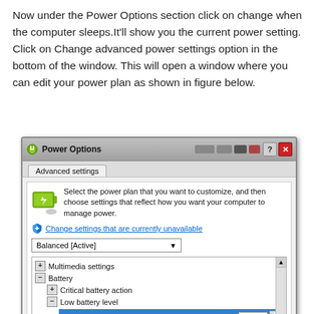Now under the Power Options section click on change when the computer sleeps.It'll show you the current power setting. Click on Change advanced power settings option in the bottom of the window. This will open a window where you can edit your power plan as shown in figure below.
[Figure (screenshot): Windows Power Options dialog showing Advanced settings tab with Balanced [Active] plan selected. Tree view shows Multimedia settings and Battery options including Critical battery action and Low battery level with On battery (%) set to 15 and Plugged in: 10%.]